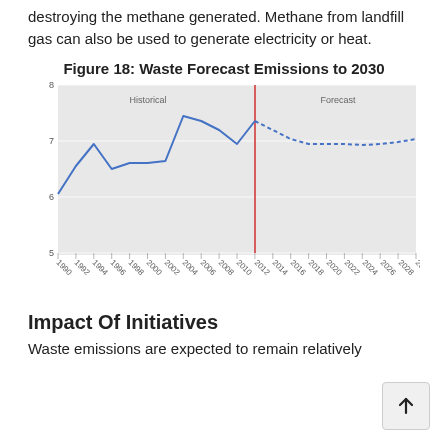destroying the methane generated. Methane from landfill gas can also be used to generate electricity or heat.
Figure 18: Waste Forecast Emissions to 2030
[Figure (line-chart): Figure 18: Waste Forecast Emissions to 2030]
Impact Of Initiatives
Waste emissions are expected to remain relatively